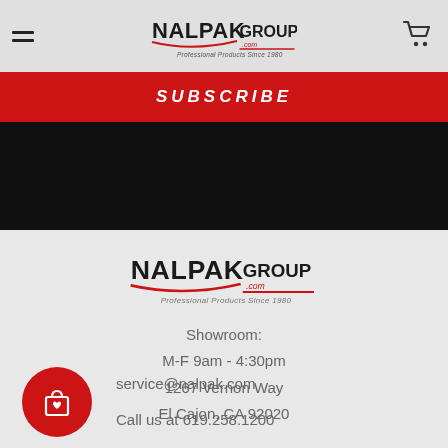Nalpak Group — Professional Products Since 1980
SUBSCRIBE
[Figure (logo): Nalpak Group logo — Professional Products Since 1980]
Showroom:
M-F 9am - 4:30pm
1267 Vernon Way
El Cajon, CA 92020
service@nalpak.com
Call us at 619.258.1200